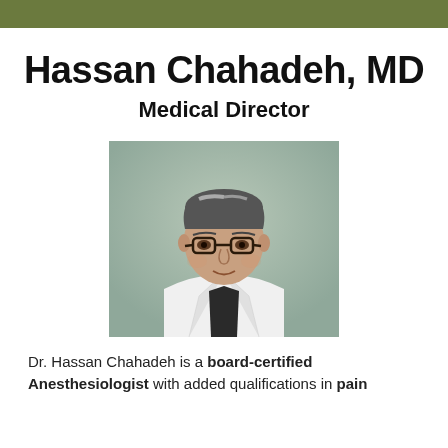Hassan Chahadeh, MD
Medical Director
[Figure (photo): Professional headshot of Dr. Hassan Chahadeh wearing a white medical coat and dark-rimmed glasses, with gray-streaked hair, against a soft gray-green background.]
Dr. Hassan Chahadeh is a board-certified Anesthesiologist with added qualifications in pain